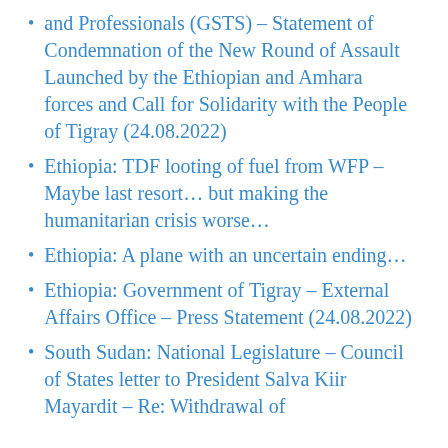and Professionals (GSTS) – Statement of Condemnation of the New Round of Assault Launched by the Ethiopian and Amhara forces and Call for Solidarity with the People of Tigray (24.08.2022)
Ethiopia: TDF looting of fuel from WFP – Maybe last resort… but making the humanitarian crisis worse…
Ethiopia: A plane with an uncertain ending…
Ethiopia: Government of Tigray – External Affairs Office – Press Statement (24.08.2022)
South Sudan: National Legislature – Council of States letter to President Salva Kiir Mayardit – Re: Withdrawal of